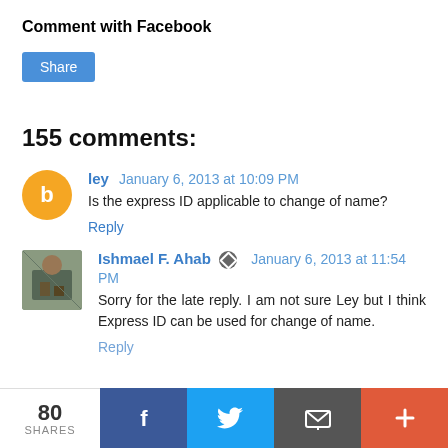Comment with Facebook
[Figure (other): Share button (blue rectangle with white 'Share' text)]
155 comments:
ley  January 6, 2013 at 10:09 PM
Is the express ID applicable to change of name?
Reply
Ishmael F. Ahab  January 6, 2013 at 11:54 PM
Sorry for the late reply. I am not sure Ley but I think Express ID can be used for change of name.
Reply
[Figure (infographic): Bottom share bar with 80 SHARES count, Facebook, Twitter, Email, and plus icons]